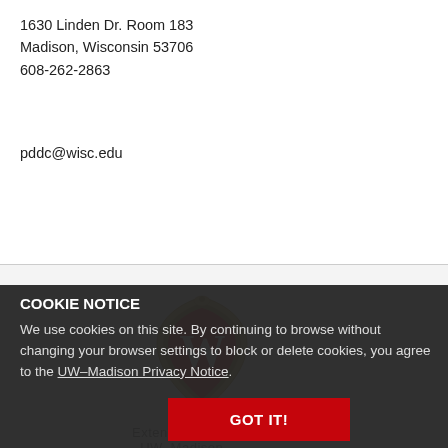1630 Linden Dr. Room 183
Madison, Wisconsin 53706
608-262-2863
pddc@wisc.edu
[Figure (logo): University of Wisconsin–Madison crest/shield logo with W emblem]
Extension
UW–Madison
COOKIE NOTICE
We use cookies on this site. By continuing to browse without changing your browser settings to block or delete cookies, you agree to the UW–Madison Privacy Notice.
GOT IT!